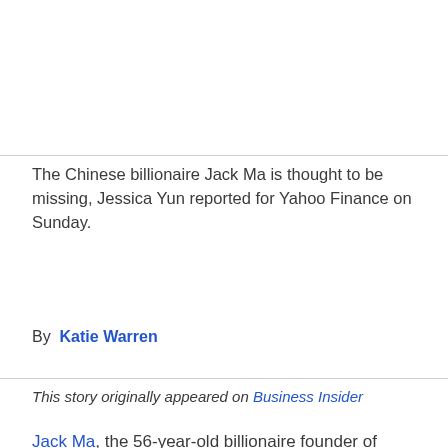The Chinese billionaire Jack Ma is thought to be missing, Jessica Yun reported for Yahoo Finance on Sunday.
By  Katie Warren
This story originally appeared on Business Insider
Jack Ma, the 56-year-old billionaire founder of Alibaba and Ant Group, hasn't been seen publicly in more than two months, Jessica Yun reported for Yahoo Finance on Sunday.